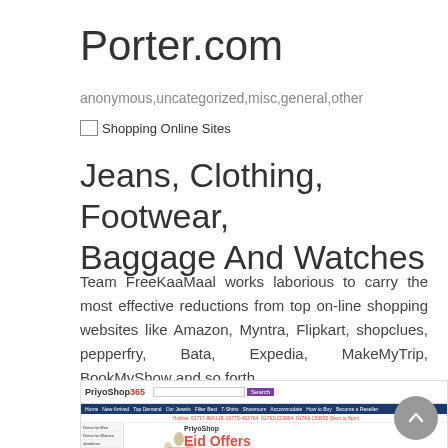Porter.com
anonymous,uncategorized,misc,general,other
[Figure (other): Broken image placeholder labeled 'Shopping Online Sites']
Jeans, Clothing, Footwear, Baggage And Watches
Team FreeKaaMaal works laborious to carry the most effective reductions from top on-line shopping websites like Amazon, Myntra, Flipkart, shopclues, pepperfry, Bata, Expedia, MakeMyTrip, BookMyShow and so forth.
[Figure (screenshot): Screenshot of PriyoShop website showing Eid Offers promotional content]